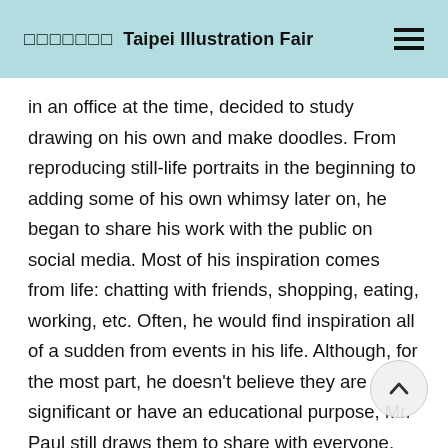□□□□□□□ Taipei Illustration Fair
in an office at the time, decided to study drawing on his own and make doodles. From reproducing still-life portraits in the beginning to adding some of his own whimsy later on, he began to share his work with the public on social media. Most of his inspiration comes from life: chatting with friends, shopping, eating, working, etc. Often, he would find inspiration all of a sudden from events in his life. Although, for the most part, he doesn't believe they are significant or have an educational purpose, Mr. Paul still draws them to share with everyone. He likes to see how people interact with his work and the comments they leave for each drawing; for him, creating resonance is very fulfilling. He thinks he doesn't have particularly great